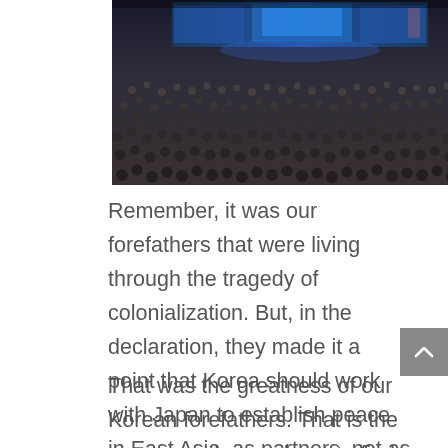[Figure (photo): Large indoor crowd at a conference or rally with screens showing a speaker at the front stage with blue lighting]
Remember, it was our forefathers that were living through the tragedy of colonialization. But, in the declaration, they made it a point that Korea should work with Japan to establish peace in East Asia, as partners, not as enemies.
That was the greatness of our Korean forefathers. That is the greatness that we have to find today in order to face the